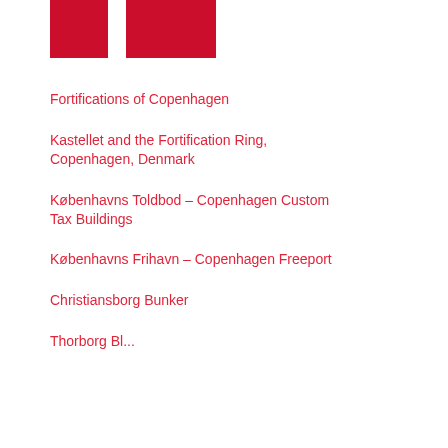[Figure (logo): Two red rectangular blocks side by side forming part of a logo]
Fortifications of Copenhagen
Kastellet and the Fortification Ring, Copenhagen, Denmark
Københavns Toldbod – Copenhagen Custom Tax Buildings
Københavns Frihavn – Copenhagen Freeport
Christiansborg Bunker
Thorborg Bl...